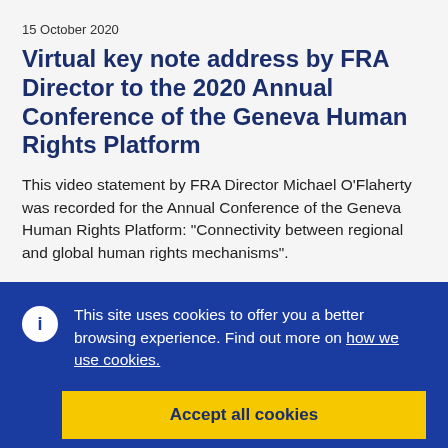15 October 2020
Virtual key note address by FRA Director to the 2020 Annual Conference of the Geneva Human Rights Platform
This video statement by FRA Director Michael O'Flaherty was recorded for the Annual Conference of the Geneva Human Rights Platform: "Connectivity between regional and global human rights mechanisms".
This site uses cookies to offer you a better browsing experience. Find out more on how we use cookies.
Accept all cookies
Accept only essential cookies